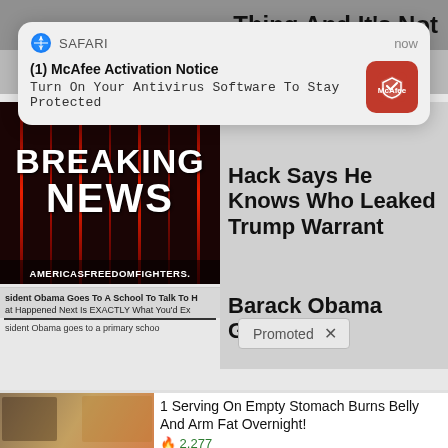[Figure (screenshot): Top of mobile webpage showing partial headline 'Thing And It's Not']
[Figure (screenshot): Safari iOS push notification: (1) McAfee Activation Notice - Turn On Your Antivirus Software To Stay Protected, with McAfee red icon]
[Figure (screenshot): Breaking News image with AMERICASFREEDOMFIGHTERS watermark]
Hack Says He Knows Who Leaked Trump Warrant
[Figure (screenshot): Thumbnail showing Obama article preview]
Barack Obama Goes T-
Promoted ×
1 Serving On Empty Stomach Burns Belly And Arm Fat Overnight!
🔥 2,277
How To Lose 40.5 Lbs In A Month (Eat This Once Every Day)
🔥 40,658